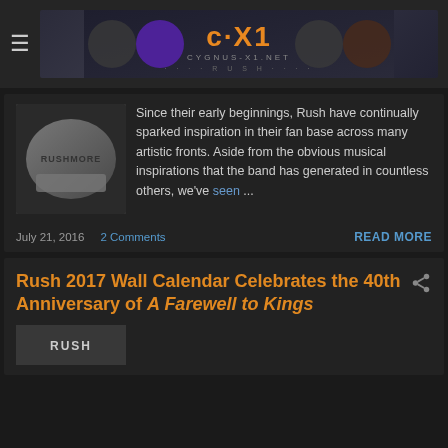≡ CX1 Cygnus-X1.net — Rush fan site header logo
Since their early beginnings, Rush have continually sparked inspiration in their fan base across many artistic fronts. Aside from the obvious musical inspirations that the band has generated in countless others, we've seen …
July 21, 2016   2 Comments   READ MORE
Rush 2017 Wall Calendar Celebrates the 40th Anniversary of A Farewell to Kings